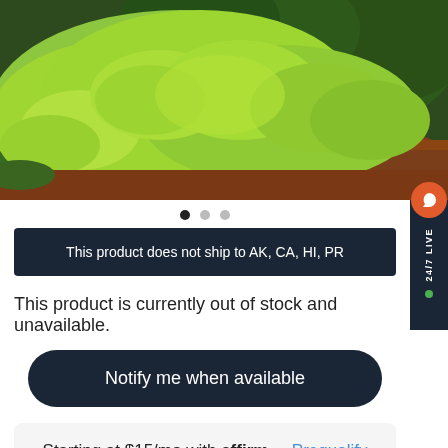[Figure (photo): Photo of a bush or shrub with bright yellow-green heart-shaped leaves spreading over brown mulch ground cover, with darker green foliage visible in the background.]
This product does not ship to AK, CA, HI, PR
This product is currently out of stock and unavailable.
Notify me when available
Starting at $15/mo with affirm. Prequalify now